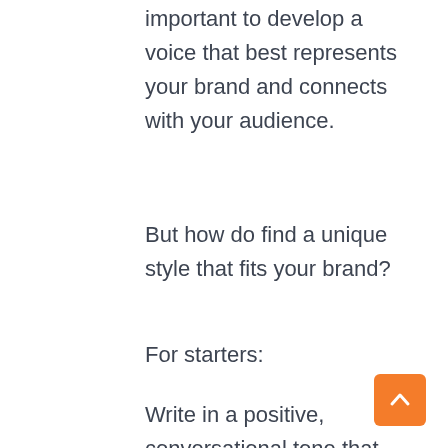important to develop a voice that best represents your brand and connects with your audience.
But how do find a unique style that fits your brand?
For starters:
Write in a positive, conversational tone that grabs attention and keeps prospects interested in your story. Use “you” to drive